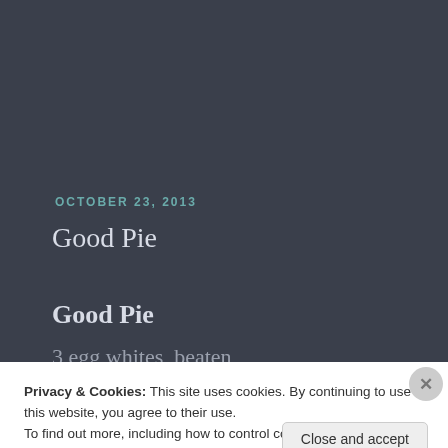OCTOBER 23, 2013
Good Pie
Good Pie
3 egg whites, beaten
Privacy & Cookies: This site uses cookies. By continuing to use this website, you agree to their use.
To find out more, including how to control cookies, see here: Cookie Policy
Close and accept